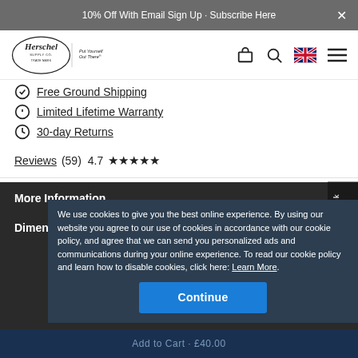10% Off With Email Sign Up · Subscribe Here
[Figure (logo): Herschel Supply Co. logo with tagline 'Put Yourself Out There']
Free Ground Shipping
Limited Lifetime Warranty
30-day Returns
Reviews (59)  4.7 ★★★★★
More Information
Dimensions
We use cookies to give you the best online experience. By using our website you agree to our use of cookies in accordance with our cookie policy, and agree that we can send you personalized ads and communications during your online experience. To read our cookie policy and learn how to disable cookies, click here: Learn More
Continue
Add to Cart · £40.00